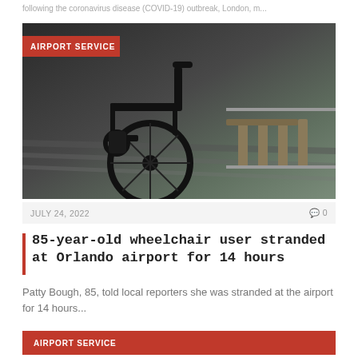following the coronavirus disease (COVID-19) outbreak, London, m...
[Figure (photo): A wheelchair parked in an airport terminal next to a row of seating chairs. The image is dark-toned. A red badge overlay reads 'AIRPORT SERVICE'.]
JULY 24, 2022   0
85-year-old wheelchair user stranded at Orlando airport for 14 hours
Patty Bough, 85, told local reporters she was stranded at the airport for 14 hours...
AIRPORT SERVICE